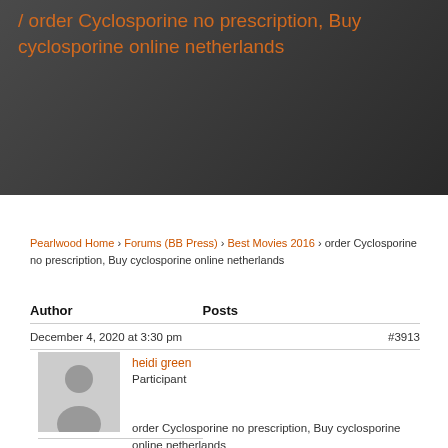/ order Cyclosporine no prescription, Buy cyclosporine online netherlands
Pearlwood Home › Forums (BB Press) › Best Movies 2016 › order Cyclosporine no prescription, Buy cyclosporine online netherlands
Author	Posts
December 4, 2020 at 3:30 pm	#3913
[Figure (illustration): Gray avatar silhouette icon for user heidi green]
heidi green
Participant
order Cyclosporine no prescription, Buy cyclosporine online netherlands